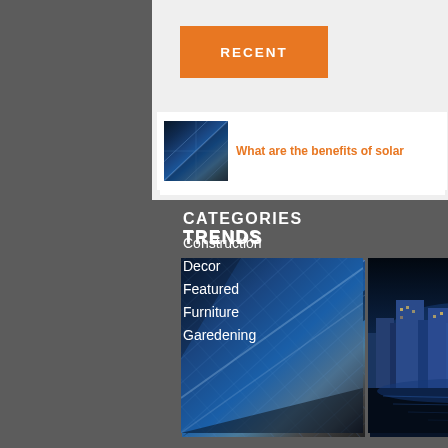RECENT
What are the benefits of solar
TRENDS
[Figure (photo): Two trend images side by side: solar panel close-up (left) and city skyline reflected in water at night (right)]
CATEGORIES
Construction
Decor
Featured
Furniture
Garedening